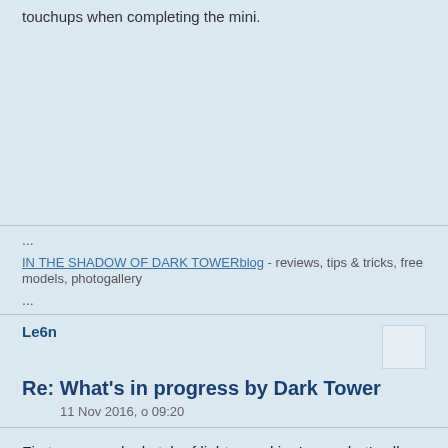touchups when completing the mini.
...
IN THE SHADOW OF DARK TOWERblog - reviews, tips & tricks, free models, photogallery
...
Le6n
Re: What's in progress by Dark Tower
11 Nov 2016, о 09:20
First very rough sketch of lights on skin. I see what's all wrong, need more time to build up the lights on chest and shoulders mainly. But as I say, very heavy W.I.P.